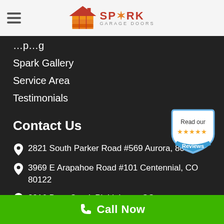[Figure (logo): Spark Garage Doors logo with house/garage icon and brand name]
Spark Gallery
Service Area
Testimonials
Contact Us
2821 South Parker Road #569 Aurora, 80014
3969 E Arapahoe Road #101 Centennial, CO 80122
2916 Deer Creek Pl, Littleton, CO
[Figure (infographic): Read our 5-star Reviews badge]
Call Now